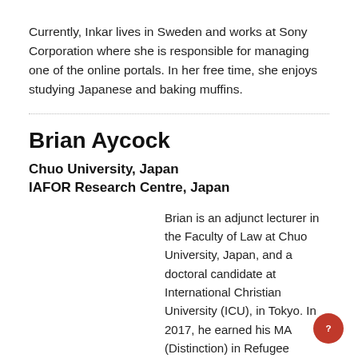Currently, Inkar lives in Sweden and works at Sony Corporation where she is responsible for managing one of the online portals. In her free time, she enjoys studying Japanese and baking muffins.
Brian Aycock
Chuo University, Japan
IAFOR Research Centre, Japan
Brian is an adjunct lecturer in the Faculty of Law at Chuo University, Japan, and a doctoral candidate at International Christian University (ICU), in Tokyo. In 2017, he earned his MA (Distinction) in Refugee